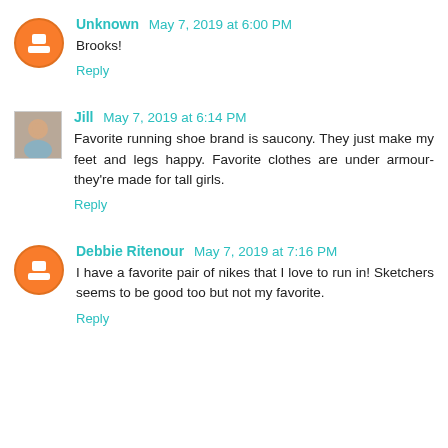Unknown May 7, 2019 at 6:00 PM
Brooks!
Reply
Jill May 7, 2019 at 6:14 PM
Favorite running shoe brand is saucony. They just make my feet and legs happy. Favorite clothes are under armour- they’re made for tall girls.
Reply
Debbie Ritenour May 7, 2019 at 7:16 PM
I have a favorite pair of nikes that I love to run in! Sketchers seems to be good too but not my favorite.
Reply